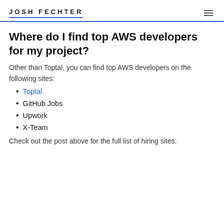JOSH FECHTER
Where do I find top AWS developers for my project?
Other than Toptal, you can find top AWS developers on the following sites:
Toptal
GitHub Jobs
Upwork
X-Team
Check out the post above for the full list of hiring sites.